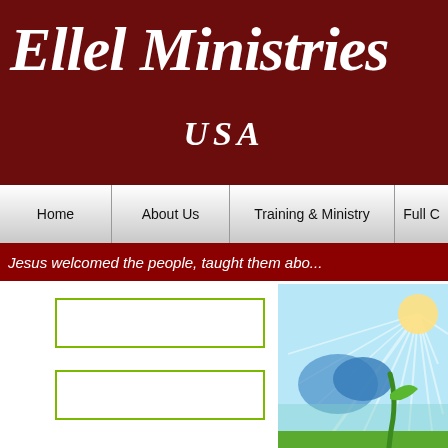Ellel Ministries USA
Home | About Us | Training & Ministry | Full C...
Jesus welcomed the people, taught them abo...
[Figure (illustration): Seeds illustration showing a seedling growing from soil with blue mountain shapes and radiating light against a blue sky background, with the word 'seeds' printed in brown letters at the bottom]
My back problems and pill addiction were healed
Fire and Billows of S...
by Peter Horrobin
God has flicked his little finger and...